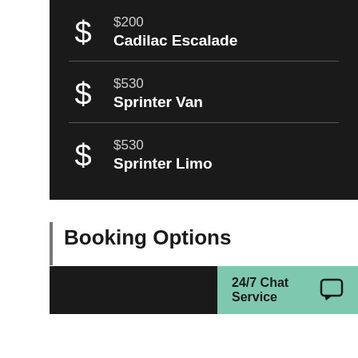$200 Cadilac Escalade
$530 Sprinter Van
$530 Sprinter Limo
Booking Options
24/7 Chat Service